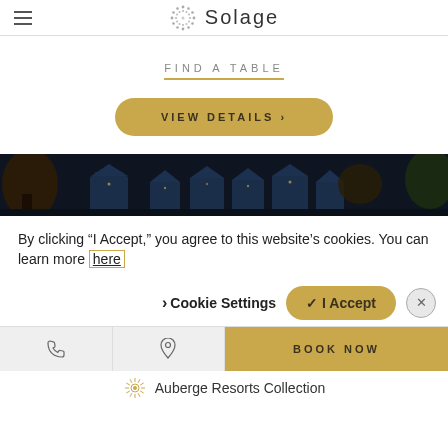Solage
FIND A TABLE
VIEW DETAILS >
[Figure (photo): Nighttime outdoor photo of a resort patio area with building silhouettes and warm lighting]
By clicking “I Accept,” you agree to this website’s cookies. You can learn more here
Cookie Settings    ✓ I Accept
BOOK NOW
Auberge Resorts Collection